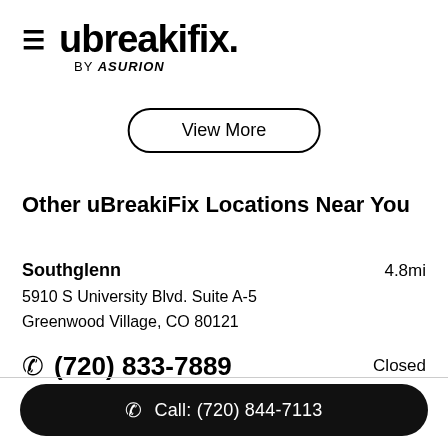[Figure (logo): ubreakifix by asurion logo with hamburger menu icon]
View More
Other uBreakiFix Locations Near You
Southglenn   4.8mi
5910 S University Blvd. Suite A-5
Greenwood Village, CO 80121
☎ (720) 833-7889   Closed
Call: (720) 844-7113